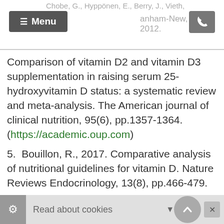Chobe, G., Hyppönen, E., Berry, J., Vieth, …anham-New, S., 2012.
Comparison of vitamin D2 and vitamin D3 supplementation in raising serum 25-hydroxyvitamin D status: a systematic review and meta-analysis. The American journal of clinical nutrition, 95(6), pp.1357-1364. (https://academic.oup.com)
5.  Bouillon, R., 2017. Comparative analysis of nutritional guidelines for vitamin D. Nature Reviews Endocrinology, 13(8), pp.466-479.
Read about cookies